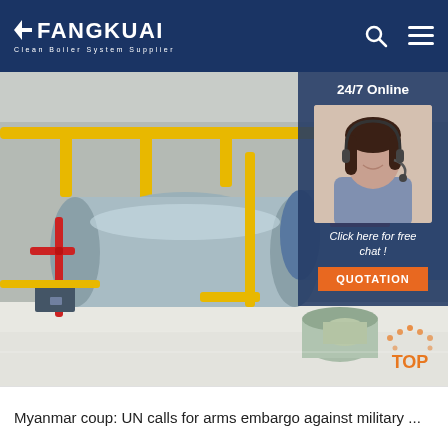FANGKUAI - Clean Boiler System Supplier
[Figure (photo): Industrial boiler room with large cylindrical silver boilers, yellow and red piping, in a clean factory interior with white floor. Overlay shows a 24/7 Online customer service representative with headset, with 'Click here for free chat!' text and an orange QUOTATION button. A decorative TOP navigation button is visible in the bottom-right of the image.]
Myanmar coup: UN calls for arms embargo against military ...